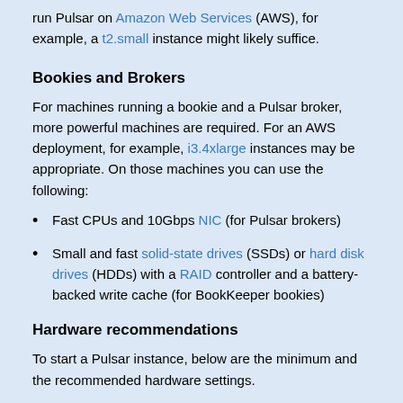run Pulsar on Amazon Web Services (AWS), for example, a t2.small instance might likely suffice.
Bookies and Brokers
For machines running a bookie and a Pulsar broker, more powerful machines are required. For an AWS deployment, for example, i3.4xlarge instances may be appropriate. On those machines you can use the following:
Fast CPUs and 10Gbps NIC (for Pulsar brokers)
Small and fast solid-state drives (SSDs) or hard disk drives (HDDs) with a RAID controller and a battery-backed write cache (for BookKeeper bookies)
Hardware recommendations
To start a Pulsar instance, below are the minimum and the recommended hardware settings.